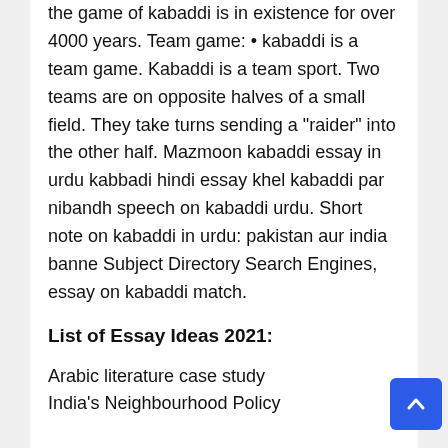the game of kabaddi is in existence for over 4000 years. Team game: • kabaddi is a team game. Kabaddi is a team sport. Two teams are on opposite halves of a small field. They take turns sending a "raider" into the other half. Mazmoon kabaddi essay in urdu kabbadi hindi essay khel kabaddi par nibandh speech on kabaddi urdu. Short note on kabaddi in urdu: pakistan aur india banne Subject Directory Search Engines, essay on kabaddi match.
List of Essay Ideas 2021:
Arabic literature case study
India's Neighbourhood Policy